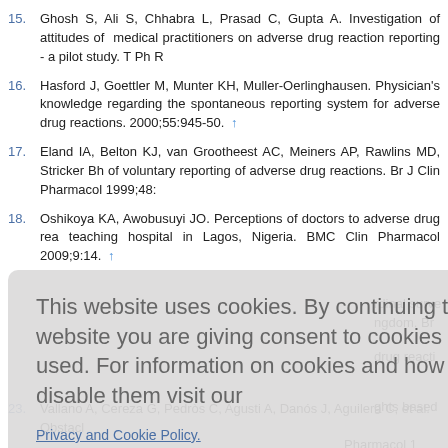15. Ghosh S, Ali S, Chhabra L, Prasad C, Gupta A. Investigation of attitudes of medical practitioners on adverse drug reaction reporting - a pilot study. T Ph R
16. Hasford J, Goettler M, Munter KH, Muller-Oerlinghausen. Physician's knowledge regarding the spontaneous reporting system for adverse drug reactions. 2000;55:945-50. ↑
17. Eland IA, Belton KJ, van Grootheest AC, Meiners AP, Rawlins MD, Stricker Bh of voluntary reporting of adverse drug reactions. Br J Clin Pharmacol 1999;48:
18. Oshikoya KA, Awobusuyi JO. Perceptions of doctors to adverse drug rea teaching hospital in Lagos, Nigeria. BMC Clin Pharmacol 2009;9:14. ↑
This website uses cookies. By continuing to use this website you are giving consent to cookies being used. For information on cookies and how you can disable them visit our Privacy and Cookie Policy.
AGREE & PROCEED